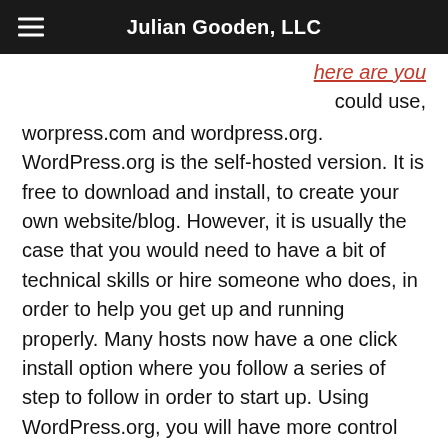Julian Gooden, LLC
here are you could use, worpress.com and wordpress.org. WordPress.org is the self-hosted version. It is free to download and install, to create your own website/blog. However, it is usually the case that you would need to have a bit of technical skills or hire someone who does, in order to help you get up and running properly. Many hosts now have a one click install option where you follow a series of step to follow in order to start up. Using WordPress.org, you will have more control over your blog, you host it and use your own domain name and can freely promote it the way you want to. With WordPress.com, the blog is set up on a preinstalled platform. Your website is hosted and the technical details are taken care of for you. Creating a blog on